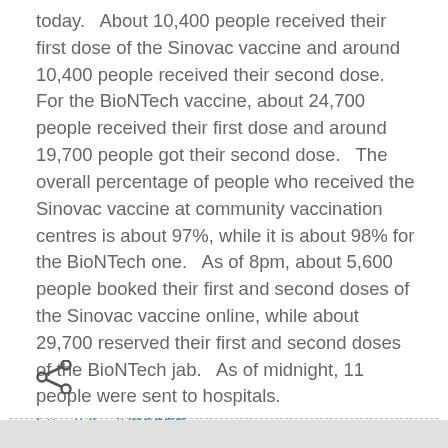today.   About 10,400 people received their first dose of the Sinovac vaccine and around 10,400 people received their second dose.   For the BioNTech vaccine, about 24,700 people received their first dose and around 19,700 people got their second dose.   The overall percentage of people who received the Sinovac vaccine at community vaccination centres is about 97%, while it is about 98% for the BioNTech one.   As of 8pm, about 5,600 people booked their first and second doses of the Sinovac vaccine online, while about 29,700 reserved their first and second doses of the BioNTech jab.   As of midnight, 11 people were sent to hospitals.
http://dlvr.it/S52FFv
[Figure (other): Share icon (less-than symbol shaped share button)]